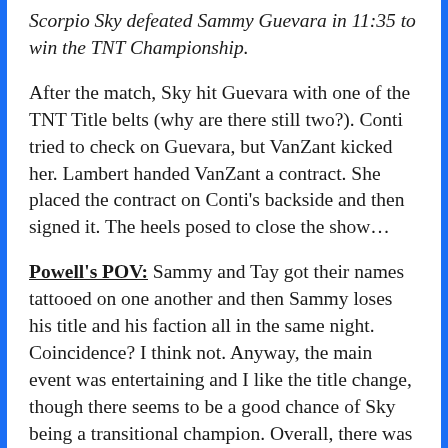Scorpio Sky defeated Sammy Guevara in 11:35 to win the TNT Championship.
After the match, Sky hit Guevara with one of the TNT Title belts (why are there still two?). Conti tried to check on Guevara, but VanZant kicked her. Lambert handed VanZant a contract. She placed the contract on Conti's backside and then signed it. The heels posed to close the show…
Powell's POV: Sammy and Tay got their names tattooed on one another and then Sammy loses his title and his faction all in the same night. Coincidence? I think not. Anyway, the main event was entertaining and I like the title change, though there seems to be a good chance of Sky being a transitional champion. Overall, there was a lot to like about this episode, but there was once again too much crammed into